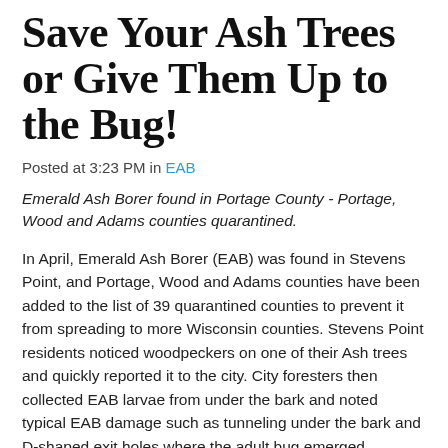Save Your Ash Trees or Give Them Up to the Bug!
Posted at 3:23 PM in EAB
Emerald Ash Borer found in Portage County - Portage, Wood and Adams counties quarantined.
In April, Emerald Ash Borer (EAB) was found in Stevens Point, and Portage, Wood and Adams counties have been added to the list of 39 quarantined counties to prevent it from spreading to more Wisconsin counties. Stevens Point residents noticed woodpeckers on one of their Ash trees and quickly reported it to the city. City foresters then collected EAB larvae from under the bark and noted typical EAB damage such as tunneling under the bark and D-shaped exit holes where the adult bug emerged.
EAB is becoming a bigger threat year after year. This small,